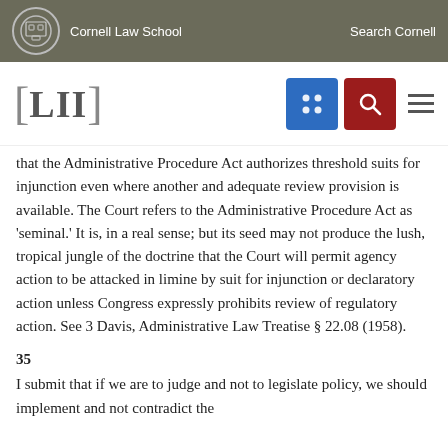Cornell Law School | Search Cornell
[Figure (logo): LII Legal Information Institute logo with navigation icons (grid and search buttons)]
that the Administrative Procedure Act authorizes threshold suits for injunction even where another and adequate review provision is available. The Court refers to the Administrative Procedure Act as 'seminal.' It is, in a real sense; but its seed may not produce the lush, tropical jungle of the doctrine that the Court will permit agency action to be attacked in limine by suit for injunction or declaratory action unless Congress expressly prohibits review of regulatory action. See 3 Davis, Administrative Law Treatise § 22.08 (1958).
35
I submit that if we are to judge and not to legislate policy, we should implement and not contradict the